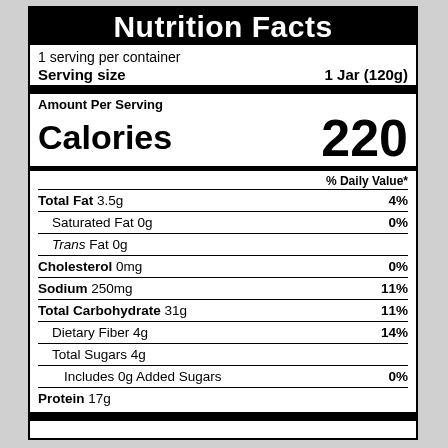Nutrition Facts
1 serving per container
Serving size  1 Jar (120g)
Amount Per Serving
Calories 220
| Nutrient | Amount | % Daily Value |
| --- | --- | --- |
| Total Fat | 3.5g | 4% |
| Saturated Fat | 0g | 0% |
| Trans Fat | 0g |  |
| Cholesterol | 0mg | 0% |
| Sodium | 250mg | 11% |
| Total Carbohydrate | 31g | 11% |
| Dietary Fiber | 4g | 14% |
| Total Sugars | 4g |  |
| Includes 0g Added Sugars |  | 0% |
| Protein | 17g |  |